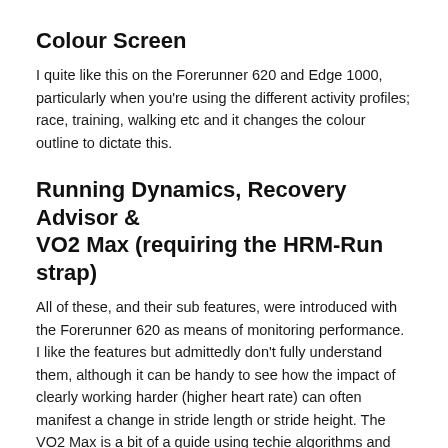Colour Screen
I quite like this on the Forerunner 620 and Edge 1000, particularly when you're using the different activity profiles; race, training, walking etc and it changes the colour outline to dictate this.
Running Dynamics, Recovery Advisor & VO2 Max (requiring the HRM-Run strap)
All of these, and their sub features, were introduced with the Forerunner 620 as means of monitoring performance. I like the features but admittedly don't fully understand them, although it can be handy to see how the impact of clearly working harder (higher heart rate) can often manifest a change in stride length or stride height. The VO2 Max is a bit of a guide using techie algorithms and this can now be applied to cycling too
These features and the Oscillation, Ground Contact...